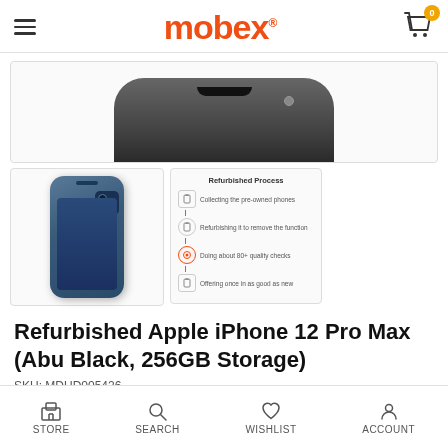mobex
[Figure (photo): Main product image area showing top portion of iPhone 12 Pro Max in Pacific Blue/dark color against white background]
[Figure (photo): Thumbnail of iPhone 12 Pro Max front view in Pacific Blue color]
[Figure (infographic): Refurbished Process infographic showing 4 steps: Collecting the pre-owned phones, Refurbishing it to remove the function, Doing about 80+ quality checks, Offering once in as good as new]
Refurbished Apple iPhone 12 Pro Max (Abu Black, 256GB Storage)
SKU: MDUD005426
STORE   SEARCH   WISHLIST   ACCOUNT